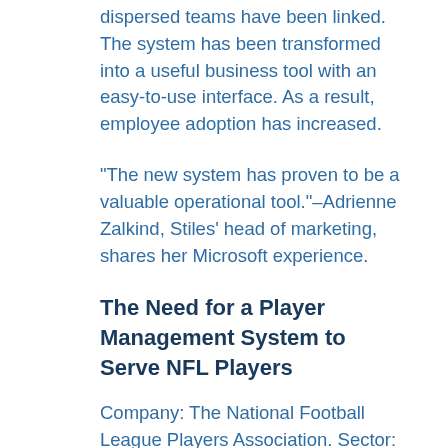dispersed teams have been linked. The system has been transformed into a useful business tool with an easy-to-use interface. As a result, employee adoption has increased.
"The new system has proven to be a valuable operational tool."–Adrienne Zalkind, Stiles' head of marketing, shares her Microsoft experience.
The Need for a Player Management System to Serve NFL Players
Company: The National Football League Players Association. Sector: Nonprofit Dynamics 365 is used to find the best opportunities for NFL players. The National Football League Players Association (NFLPA) is a non-profit organization that represents NFL players. The NFLPA protects all professional football players' rights, negotiates and monitors retirement and insurance benefits, and offers a